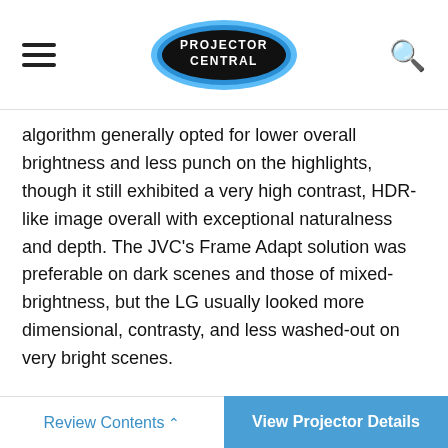PROJECTOR CENTRAL
algorithm generally opted for lower overall brightness and less punch on the highlights, though it still exhibited a very high contrast, HDR-like image overall with exceptional naturalness and depth. The JVC's Frame Adapt solution was preferable on dark scenes and those of mixed-brightness, but the LG usually looked more dimensional, contrasty, and less washed-out on very bright scenes.
More critical, though, is that both projectors delivered, by far, the best HDR experience I've seen from a projector. You can argue that a better image might have been
Review Contents ^   View Projector Details